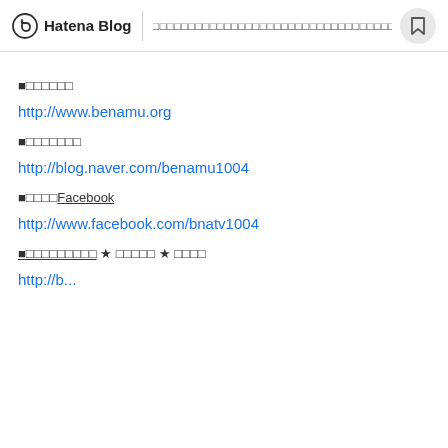Hatena Blog | □□□□□□□□□□□□□□□□□□□□□□□□□□□□□□□□□□□□
■□□□□□□
http://www.benamu.org
■□□□□□□□
http://blog.naver.com/benamu1004
■□□□□Facebook
http://www.facebook.com/bnatv1004
■□□□□□□□□□ ★ □□□□□ ★ □□□□
http://b...